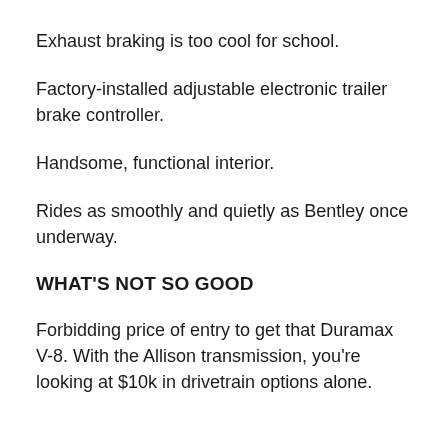Exhaust braking is too cool for school.
Factory-installed adjustable electronic trailer brake controller.
Handsome, functional interior.
Rides as smoothly and quietly as Bentley once underway.
WHAT'S NOT SO GOOD
Forbidding price of entry to get that Duramax V-8. With the Allison transmission, you're looking at $10k in drivetrain options alone.